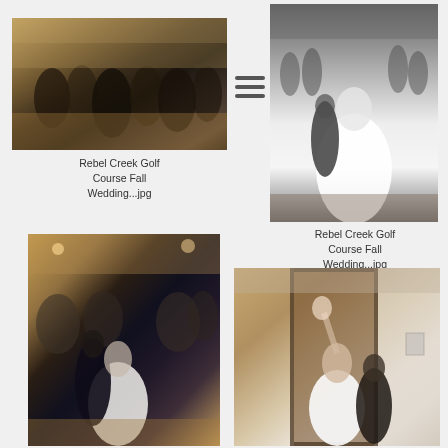[Figure (photo): Color photo of wedding party group gathered in a reception hall, bridesmaids in navy dresses holding bouquets, groomsmen in suits]
[Figure (photo): Black and white photo of bride in ballgown being escorted, wedding party in background]
Rebel Creek Golf Course Fall Wedding...jpg
Rebel Creek Golf Course Fall Wedding...jpg
[Figure (photo): Color photo of couple dancing at wedding reception with guests clapping in background]
[Figure (photo): Color photo of bride holding bouquet up in doorway with groom beside her in reception hall]